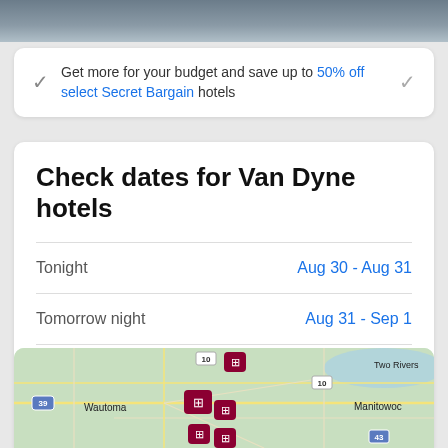[Figure (photo): Top strip with blurred background photo]
Get more for your budget and save up to 50% off select Secret Bargain hotels
Check dates for Van Dyne hotels
Tonight — Aug 30 - Aug 31
Tomorrow night — Aug 31 - Sep 1
This weekend — Sep 2 - Sep 4
Next weekend — Sep 9 - Sep 11
[Figure (map): Map of Wisconsin area showing hotel pins near Van Dyne, with Wautoma on the left, Two Rivers on the upper right, and Manitowoc on the right]